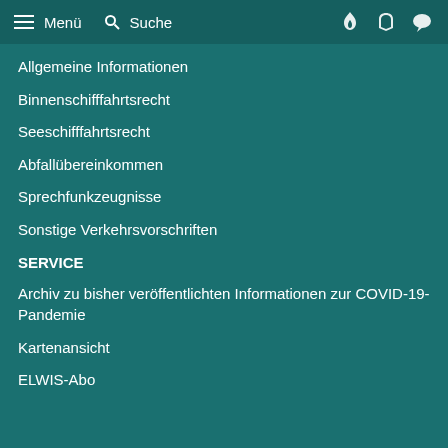Menü  Suche
Allgemeine Informationen
Binnenschifffahrtsrecht
Seeschifffahrtsrecht
Abfallübereinkommen
Sprechfunkzeugnisse
Sonstige Verkehrsvorschriften
SERVICE
Archiv zu bisher veröffentlichten Informationen zur COVID-19-Pandemie
Kartenansicht
ELWIS-Abo